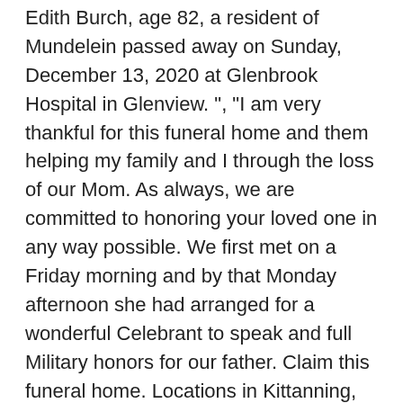Edith Burch, age 82, a resident of Mundelein passed away on Sunday, December 13, 2020 at Glenbrook Hospital in Glenview. ", "I am very thankful for this funeral home and them helping my family and I through the loss of our Mom. As always, we are committed to honoring your loved one in any way possible. We first met on a Friday morning and by that Monday afternoon she had arranged for a wonderful Celebrant to speak and full Military honors for our father. Claim this funeral home. Locations in Kittanning, Elderton, Dayton, Petrolia and Rimersburg, Pennsylvania. Website. Memorial contributions are suggested to the Town and Country Ambulance Service of Hiawatha, KS, or the Fairview-Walnut Volunteer Fire Department in Fairview, KS, sent in care of Chapel Oaks Funeral Home, 124 S 7 th St., Hiawatha 66434. Bauer Funeral Chapel can help you prepare a funeral plan that will